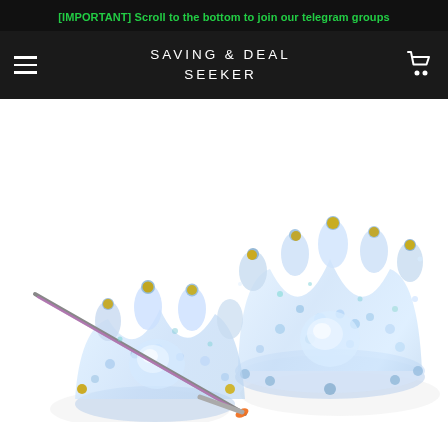[IMPORTANT] Scroll to the bottom to join our telegram groups
SAVING & DEAL SEEKER
[Figure (photo): Two crystal crown-shaped nail art holders/stands decorated with iridescent rhinestones and gold beads. A nail art brush with an orange tip is shown touching one of the crowns in the foreground. The items are glittery and translucent with a holographic appearance.]